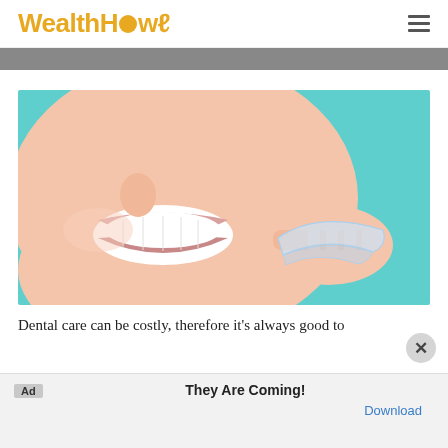WealthHow
[Figure (photo): Woman smiling and holding a clear dental aligner/retainer against a teal background]
Dental care can be costly, therefore it's always good to
Ad  They Are Coming!  Download